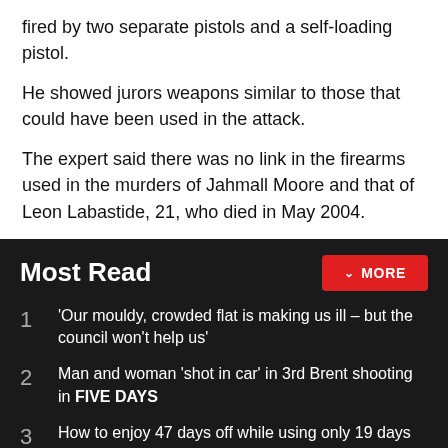fired by two separate pistols and a self-loading pistol.
He showed jurors weapons similar to those that could have been used in the attack.
The expert said there was no link in the firearms used in the murders of Jahmall Moore and that of Leon Labastide, 21, who died in May 2004.
Most Read
'Our mouldy, crowded flat is making us ill – but the council won't help us'
Man and woman 'shot in car' in 3rd Brent shooting in FIVE DAYS
How to enjoy 47 days off while using only 19 days of annual leave in 2023
Receive the top news, sport and things to do, sent to your